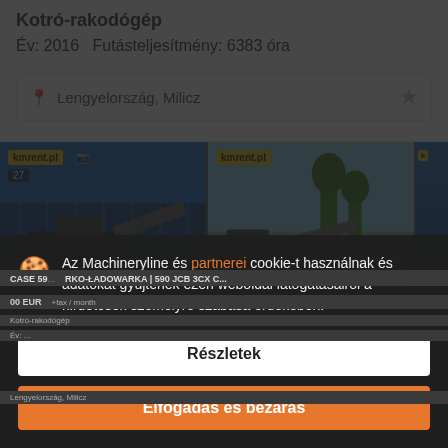Kotró-rakodógép
Év: 2016   Futásteljesítmény: 6383 óra
Lengyelország, Milicz
[Figure (screenshot): Two machinery listing card images with kmrent.pl badges]
Az Machineryline és partnerei cookie-t használnak és adatokat gyűjtenek ezen weboldal látogatásairól a hirdetések személyre szabása érdekében.
Részletek
Elfogadás és bezárás